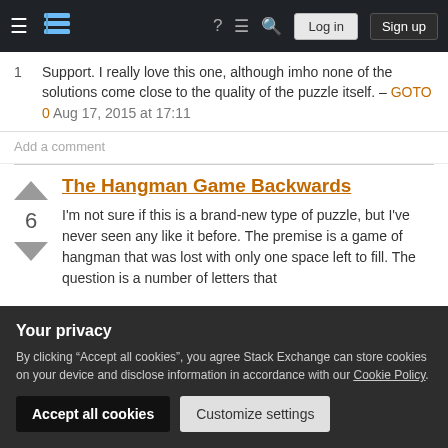Stack Exchange navigation bar with Log in and Sign up buttons
1  Support. I really love this one, although imho none of the solutions come close to the quality of the puzzle itself. – GOTO 0 Aug 17, 2015 at 17:11
Add a comment
The Hangman Game Backwards
I'm not sure if this is a brand-new type of puzzle, but I've never seen any like it before. The premise is a game of hangman that was lost with only one space left to fill. The question is a number of letters that...
Your privacy
By clicking "Accept all cookies", you agree Stack Exchange can store cookies on your device and disclose information in accordance with our Cookie Policy.
The question was: _ p p l e